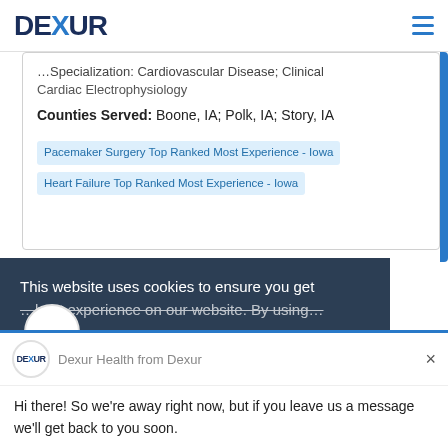DEXUR
Specialization: Cardiovascular Disease; Clinical Cardiac Electrophysiology
Counties Served: Boone, IA; Polk, IA; Story, IA
Pacemaker Surgery Top Ranked Most Experience - Iowa
Heart Failure Top Ranked Most Experience - Iowa
This website uses cookies to ensure you get the best experience on our website. By using
Dexur Health from Dexur
Hi there! So we're away right now, but if you leave us a message we'll get back to you soon.
Reply to Dexur Health
Chat ⚡ by Drift